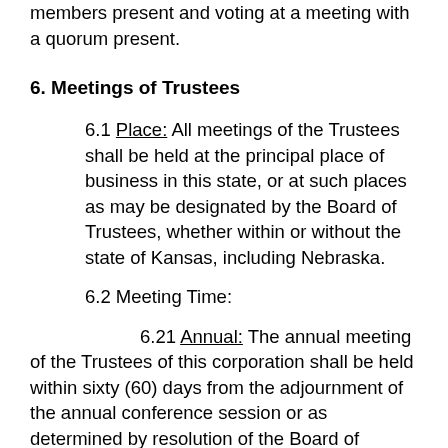members present and voting at a meeting with a quorum present.
6. Meetings of Trustees
6.1 Place: All meetings of the Trustees shall be held at the principal place of business in this state, or at such places as may be designated by the Board of Trustees, whether within or without the state of Kansas, including Nebraska.
6.2 Meeting Time:
6.21 Annual: The annual meeting of the Trustees of this corporation shall be held within sixty (60) days from the adjournment of the annual conference session or as determined by resolution of the Board of Trustees for the purpose of (1) installation of the officers elected by the members of the corporation; (2) election of members of standing committees and (3) transaction of other